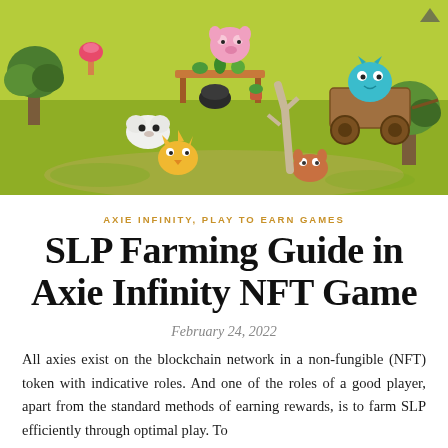[Figure (illustration): Colorful isometric game scene from Axie Infinity showing cute cartoon creatures (axies) on a green field with trees, wooden cart, furniture, and plants in a farm/village setting.]
AXIE INFINITY, PLAY TO EARN GAMES
SLP Farming Guide in Axie Infinity NFT Game
February 24, 2022
All axies exist on the blockchain network in a non-fungible (NFT) token with indicative roles. And one of the roles of a good player, apart from the standard methods of earning rewards, is to farm SLP efficiently through optimal play. To